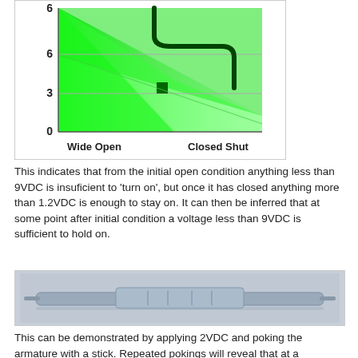[Figure (continuous-plot): A chart showing valve state (y-axis: 0, 3, 6) vs position from Wide Open to Closed Shut. A bright green shaded triangular region descends from top-left to bottom-right. A dark green curved line runs along the top then bends down. A small dark green square marker is in the middle area. Gray horizontal gridlines at y=3 and y=6. X-axis labels: Wide Open and Closed Shut.]
This indicates that from the initial open condition anything less than 9VDC is insuficient to 'turn on', but once it has closed anything more than 1.2VDC is enough to stay on. It can then be inferred that at some point after initial condition a voltage less than 9VDC is sufficient to hold on.
[Figure (photo): A photograph of a small electronic or mechanical component, possibly a solenoid or relay armature, gray/blue colored, elongated, on a light background.]
This can be demonstrated by applying 2VDC and poking the armature with a stick. Repeated pokings will reveal that at a particular point of travel the arm will be caught by the coil...